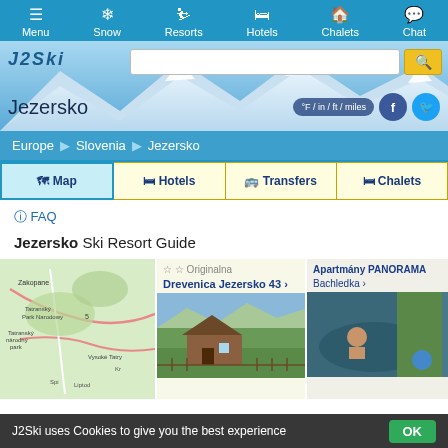Menu | Snow | Resorts | Hotels | Chalets | Chat
[Figure (screenshot): Website header with mountain background, J2Ski logo, search bar, Jezersko resort name, °F/in/ft/miles toggle, Facebook and Twitter social icons]
Europe > Slovenia > Jezersko
Map | Hotels | Transfers | Chalets
FAQ
Jezersko Ski Resort Guide
[Figure (map): Map showing Jezersko area with Zakopane, Tatranský park Narodowy, Tatranský národný park, Vysoké Tatry, and surrounding region]
Originalna
Drevenica Jezersko 43 >
Apartmány PANORAMA Bachledka >
J2Ski uses Cookies to give you the best experience OK